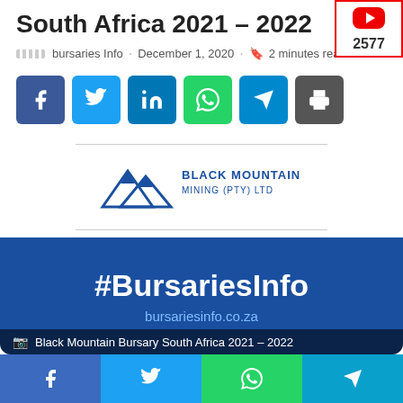South Africa 2021 – 2022
bursaries Info · December 1, 2020 · 2 minutes read
[Figure (infographic): Social share buttons: Facebook, Twitter, LinkedIn, WhatsApp, Telegram, Print]
[Figure (logo): Black Mountain Mining (PTY) LTD logo with mountain icon]
[Figure (infographic): Dark blue banner with #BursariesInfo text and bursariesinfo.co.za URL, with caption 'Black Mountain Bursary South Africa 2021 – 2022']
Black Mountain Bursary South Africa 2021 – 2022
[Figure (infographic): Bottom social share bar: Facebook, Twitter, WhatsApp, Telegram]
[Figure (logo): YouTube subscriber badge showing 2577 subscribers]